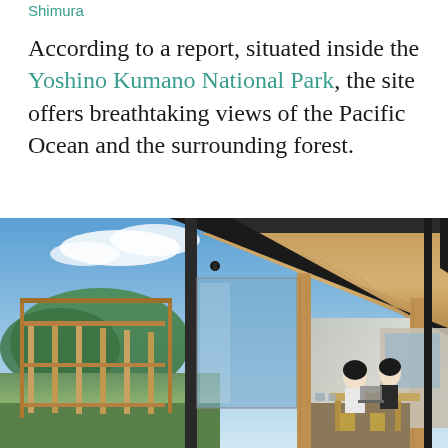Shimura
According to a report, situated inside the Yoshino Kumano National Park, the site offers breathtaking views of the Pacific Ocean and the surrounding forest.
[Figure (photo): Exterior view of a Japanese wooden cabin/lodge with exposed timber framing, pitched roof with wood ceiling, large glass sliding doors, and two people sitting at a table inside. Blue sky, green hills, and wooden fence structures visible in background.]